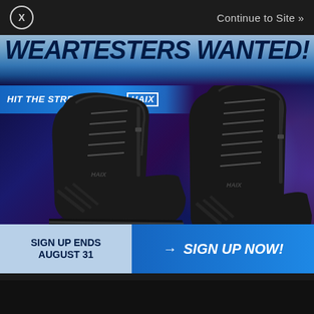X  Continue to Site »
[Figure (advertisement): HAIX boots advertisement with dark city night background, two black tactical boots displayed prominently, purple and blue neon lighting effects]
WEARTESTERS WANTED!
HIT THE STREETS WITH HAIX
SIGN UP ENDS AUGUST 31
→ SIGN UP NOW!